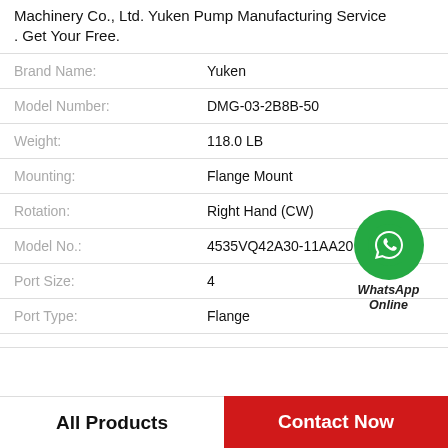Machinery Co., Ltd. Yuken Pump Manufacturing Service. Get Your Free.
| Attribute | Value |
| --- | --- |
| Brand Name: | Yuken |
| Model Number: | DMG-03-2B8B-50 |
| Weight: | 118.0 LB |
| Mounting: | Flange Mount |
| Rotation: | Right Hand (CW) |
| Model No.: | 4535VQ42A30-11AA20 |
| Port Size: | 4 |
| Port Type: | Flange |
| (partial) | (partial) |
[Figure (logo): WhatsApp Online green circle icon with phone handset symbol and text 'WhatsApp Online']
All Products   Contact Now